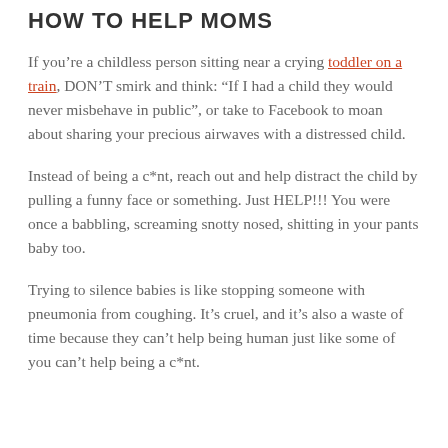HOW TO HELP MOMS
If you’re a childless person sitting near a crying toddler on a train, DON’T smirk and think: “If I had a child they would never misbehave in public”, or take to Facebook to moan about sharing your precious airwaves with a distressed child.
Instead of being a c*nt, reach out and help distract the child by pulling a funny face or something. Just HELP!!! You were once a babbling, screaming snotty nosed, shitting in your pants baby too.
Trying to silence babies is like stopping someone with pneumonia from coughing. It’s cruel, and it’s also a waste of time because they can’t help being human just like some of you can’t help being a c*nt.